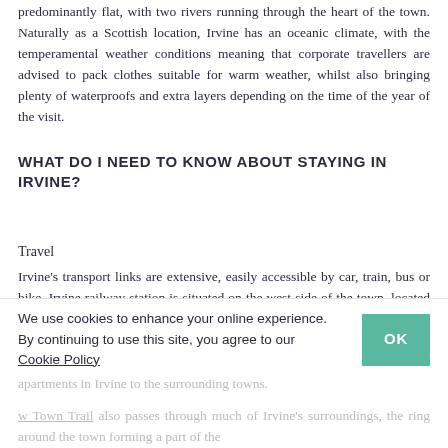predominantly flat, with two rivers running through the heart of the town. Naturally as a Scottish location, Irvine has an oceanic climate, with the temperamental weather conditions meaning that corporate travellers are advised to pack clothes suitable for warm weather, whilst also bringing plenty of waterproofs and extra layers depending on the time of the year of the visit.
WHAT DO I NEED TO KNOW ABOUT STAYING IN IRVINE?
Travel
Irvine's transport links are extensive, easily accessible by car, train, bus or bike. Irvine railway station is situated on the west side of the town, located on the main line between Stranraer and Glasgow. Stagecoach West Scotland also provide a
[faded] ... serviced apartments in Irvine to the surrounding towns.
[cookie banner] We use cookies to enhance your online experience. By continuing to use this site, you agree to our Cookie Policy
[faded] w Town Trail also passes through much of Irvine's surroundings, the ring around the town forming a part of the